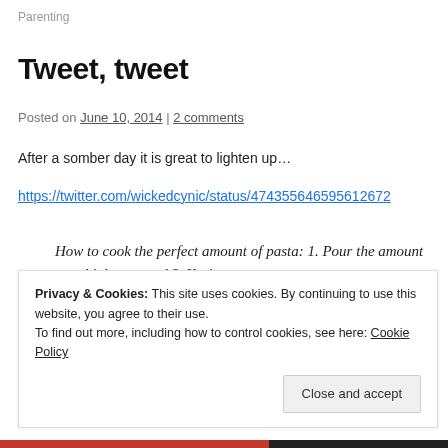Parenting
Tweet, tweet
Posted on June 10, 2014 | 2 comments
After a somber day it is great to lighten up…
https://twitter.com/wickedcynic/status/474355646595612672
How to cook the perfect amount of pasta: 1. Pour the amount you think you need 2. You're wrong
Privacy & Cookies: This site uses cookies. By continuing to use this website, you agree to their use. To find out more, including how to control cookies, see here: Cookie Policy